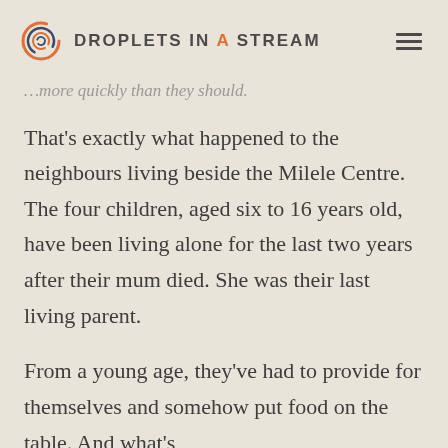DROPLETS IN A STREAM
…more quickly than they should.
That's exactly what happened to the neighbours living beside the Milele Centre. The four children, aged six to 16 years old, have been living alone for the last two years after their mum died. She was their last living parent.
From a young age, they've had to provide for themselves and somehow put food on the table. And what's